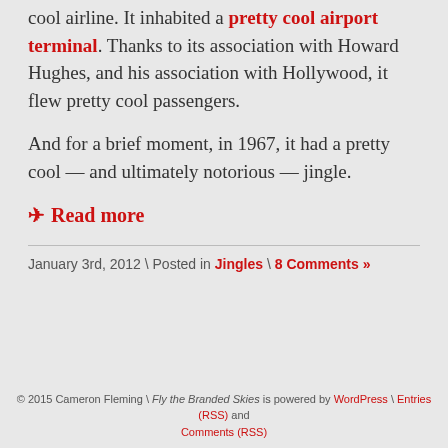cool airline. It inhabited a pretty cool airport terminal. Thanks to its association with Howard Hughes, and his association with Hollywood, it flew pretty cool passengers.
And for a brief moment, in 1967, it had a pretty cool — and ultimately notorious — jingle.
✈ Read more
January 3rd, 2012 \ Posted in Jingles \ 8 Comments »
© 2015 Cameron Fleming \ Fly the Branded Skies is powered by WordPress \ Entries (RSS) and Comments (RSS)